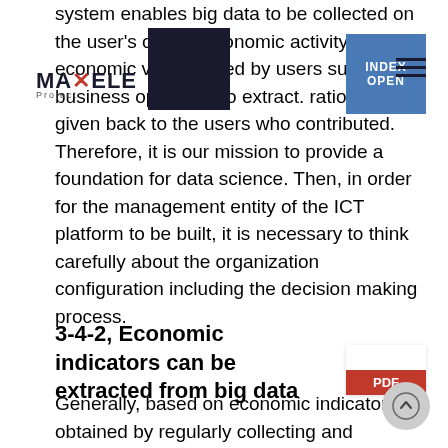system enables big data to be collected on the user's overall economic activity and the economic value added by users such as business operators to extract. rationally given back to the users who contributed. Therefore, it is our mission to provide a foundation for data science. Then, in order for the management entity of the ICT platform to be built, it is necessary to think carefully about the organization configuration including the decision making process.
3-4-2, Economic indicators can be extracted from big data
Generally, based on economic indicators obtained by regularly collecting and analyzing the results of our economic activities, society is managed by companies